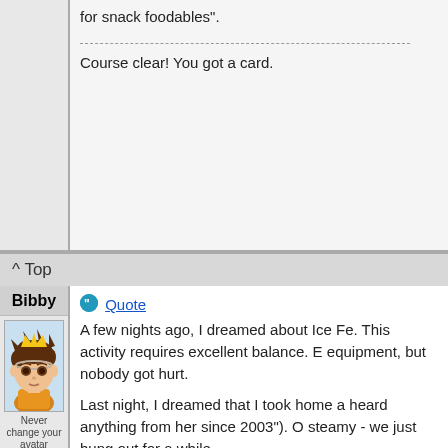for snack foodables".
Course clear! You got a card.
^ Top
Bibby
[Figure (illustration): Anime-style avatar of a young character with spiky brown hair, a gold crown, headband, and orange shirt]
Never change your avatar
Posts: 3069
Status: Offline
Group: Admin
Member: #1
Quote
A few nights ago, I dreamed about Ice Fe. This activity requires excellent balance. E equipment, but nobody got hurt.
Last night, I dreamed that I took home a heard anything from her since 2003"). O steamy - we just hung out for a while.
Also last night, I dreamed about building be on stilts (to prevent it from getting soa ladder so Lego people could climb up to
I dreamed about the first and this b